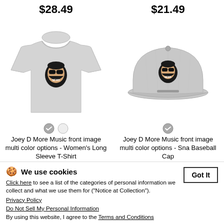$28.49
[Figure (photo): Gray women's long sleeve T-shirt with a bearded face wearing sunglasses logo on the front]
$21.49
[Figure (photo): Gray snapback baseball cap with a bearded face wearing sunglasses logo on the front]
Joey D More Music front image multi color options - Women's Long Sleeve T-Shirt
Joey D More Music front image multi color options - Snapback Baseball Cap
We use cookies
Click here to see a list of the categories of personal information we collect and what we use them for ("Notice at Collection").
Privacy Policy
Do Not Sell My Personal Information
By using this website, I agree to the Terms and Conditions